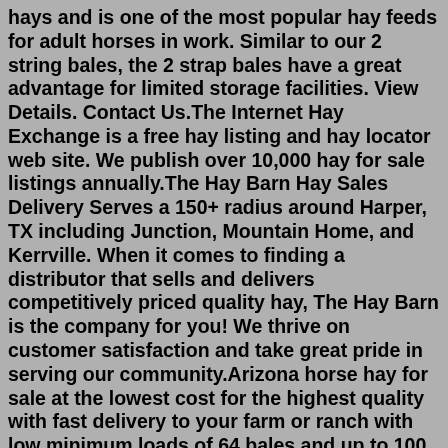hays and is one of the most popular hay feeds for adult horses in work. Similar to our 2 string bales, the 2 strap bales have a great advantage for limited storage facilities. View Details. Contact Us.The Internet Hay Exchange is a free hay listing and hay locator web site. We publish over 10,000 hay for sale listings annually.The Hay Barn Hay Sales Delivery Serves a 150+ radius around Harper, TX including Junction, Mountain Home, and Kerrville. When it comes to finding a distributor that sells and delivers competitively priced quality hay, The Hay Barn is the company for you! We thrive on customer satisfaction and take great pride in serving our community.Arizona horse hay for sale at the lowest cost for the highest quality with fast delivery to your farm or ranch with low minimum loads of 64 bales and up to 100 bales or contact us for half or full truck loads of hay. Wholesale Orders: (520) 483-4996. Sort by. Show. 24.Small Hay bales July 2022. Malton, North Yorkshire. This sale is for Small bale Meadow Hay Harvested in July 2022 without getting rained